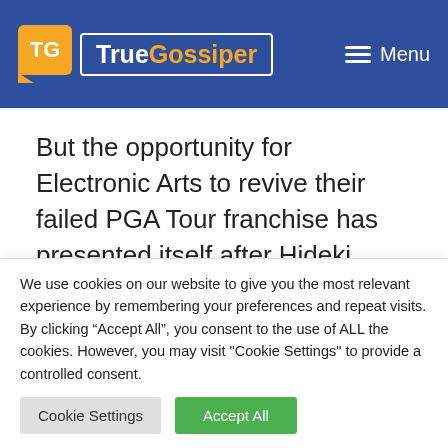TrueGossiper — Menu
But the opportunity for Electronic Arts to revive their failed PGA Tour franchise has presented itself after Hideki Matsuyama won the 85th edition of the
We use cookies on our website to give you the most relevant experience by remembering your preferences and repeat visits. By clicking "Accept All", you consent to the use of ALL the cookies. However, you may visit "Cookie Settings" to provide a controlled consent.